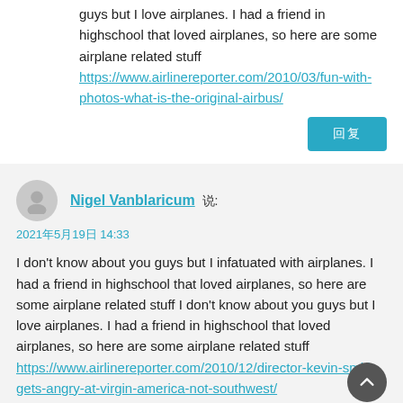guys but I love airplanes. I had a friend in highschool that loved airplanes, so here are some airplane related stuff https://www.airlinereporter.com/2010/03/fun-with-photos-what-is-the-original-airbus/
Nigel Vanblaricum 说:
2021年5月19日 14:33
I don't know about you guys but I infatuated with airplanes. I had a friend in highschool that loved airplanes, so here are some airplane related stuff I don't know about you guys but I love airplanes. I had a friend in highschool that loved airplanes, so here are some airplane related stuff https://www.airlinereporter.com/2010/12/director-kevin-smith-gets-angry-at-virgin-america-not-southwest/